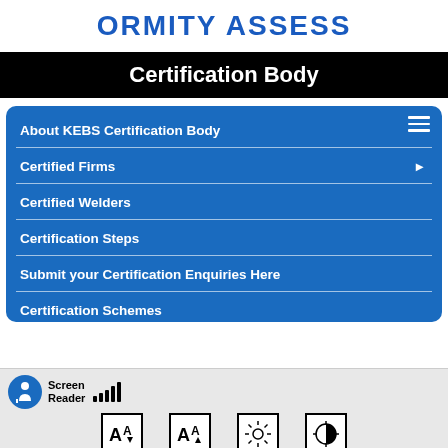[Figure (logo): Partial logo text reading 'ORMITY ASSESS' in bold blue uppercase letters, truncated at left and right edges]
Certification Body
About KEBS Certification Body
Certified Firms
Certified Welders
Certification Steps
Submit your Certification Enquiries Here
Certification Schemes
[Figure (screenshot): Accessibility toolbar at bottom with Screen Reader label, signal bars, and four icon buttons for font size, brightness, and contrast controls]